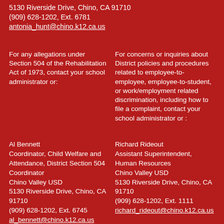5130 Riverside Drive, Chino, CA 91710
(909) 628-1202, Ext. 6781
antonia_hunt@chino.k12.ca.us
For any allegations under Section 504 of the Rehabilitation Act of 1973, contact your school administrator or:
For concerns or inquiries about District policies and procedures related to employee-to-employee, employee-to-student, or work/employment related discrimination, including how to file a complaint, contact your school administrator or :
Al Bennett
Coordinator, Child Welfare and Attendance, District Section 504 Coordinator
Chino Valley USD
5130 Riverside Drive, Chino, CA 91710
(909) 628-1202, Ext. 6745
al_bennett@chino.k12.ca.us
Richard Rideout
Assistant Superintendent, Human Resources
Chino Valley USD
5130 Riverside Drive, Chino, CA 91710
(909) 628-1202, Ext. 1111
richard_rideout@chino.k12.ca.us